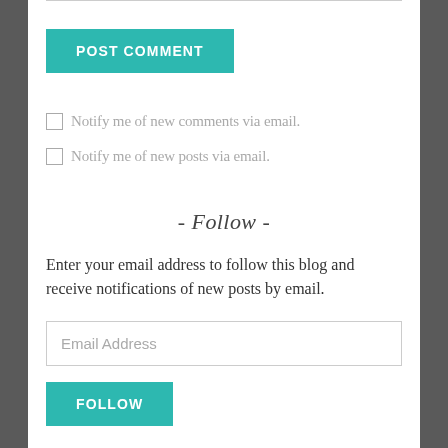[Figure (other): POST COMMENT button - teal/cyan rectangular button with white uppercase bold text]
Notify me of new comments via email.
Notify me of new posts via email.
- Follow -
Enter your email address to follow this blog and receive notifications of new posts by email.
[Figure (other): Email Address input field placeholder text]
[Figure (other): Teal follow/subscribe button partially visible at bottom]